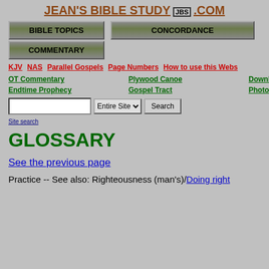JEAN'S BIBLE STUDY [JBS] .COM
[Figure (screenshot): Navigation buttons: BIBLE TOPICS, CONCORDANCE, COMMENTARY]
KJV | NAS | Parallel Gospels | Page Numbers | How to use this Webs...
OT Commentary | Plywood Canoe | Download JBS
Endtime Prophecy | Gospel Tract | Photography
Site search
GLOSSARY
See the previous page
Practice -- See also: Righteousness (man's)/Doing right